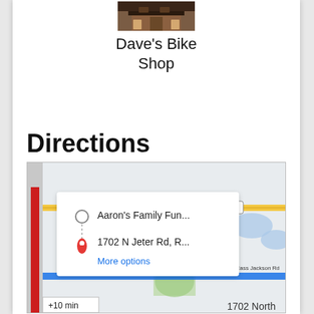[Figure (photo): Photo of Dave's Bike Shop storefront thumbnail at top of page]
Dave's Bike Shop
Directions
[Figure (map): Google Maps screenshot showing directions from Aaron's Family Fun... to 1702 N Jeter Rd, R... with a popup overlay showing route options and a 'More options' link. Map shows road network with 155th St, E Cass Jackson Rd, highway 150, and blue highlighted route. Bottom right shows '1702 North' text. Bottom left shows '10 min' indicator.]